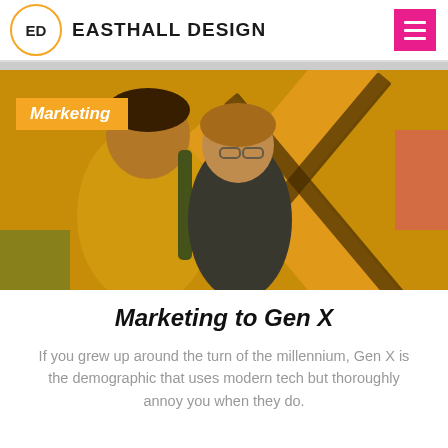ED EASTHALL DESIGN
[Figure (photo): Two people leaning together in front of a large orange X graphic background. The woman wears glasses. A man in a yellow shirt is beside her.]
Marketing
Marketing to Gen X
If you grew up around the turn of the millennium, Gen X is the demographic that uses modern tech but thoroughly annoy you when they do.